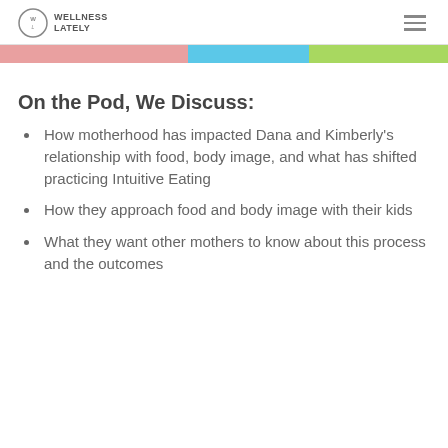Wellness Lately
[Figure (other): Three colored horizontal bars: pink, blue, and green]
On the Pod, We Discuss:
How motherhood has impacted Dana and Kimberly's relationship with food, body image, and what has shifted practicing Intuitive Eating
How they approach food and body image with their kids
What they want other mothers to know about this process and the outcomes